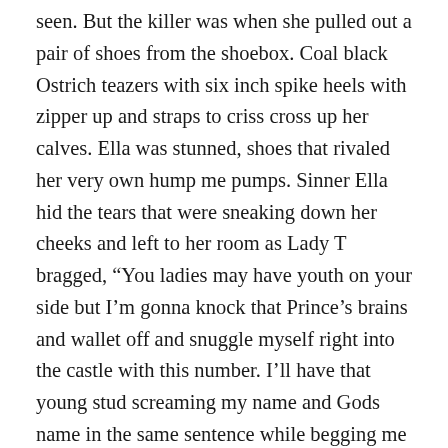seen. But the killer was when she pulled out a pair of shoes from the shoebox. Coal black Ostrich teazers with six inch spike heels with zipper up and straps to criss cross up her calves. Ella was stunned, shoes that rivaled her very own hump me pumps. Sinner Ella hid the tears that were sneaking down her cheeks and left to her room as Lady T bragged, “You ladies may have youth on your side but I’m gonna knock that Prince’s brains and wallet off and snuggle myself right into the castle with this number. I’ll have that young stud screaming my name and Gods name in the same sentence while begging me for more. I’ll show you how to bring the sexy girls, just you watch your cougar Mom tie a leash around his royal shlong! Get ready for a new Daddy girls, Mama T is brining sexy back!”